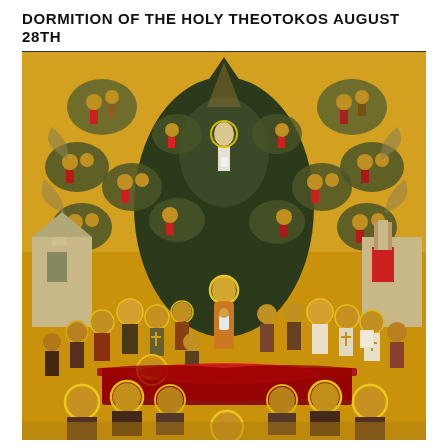DORMITION OF THE HOLY THEOTOKOS AUGUST 28TH
[Figure (illustration): A Russian Orthodox icon depicting the Dormition of the Theotokos (Virgin Mary). The composition shows the Virgin Mary lying on a bier surrounded by apostles and saints with golden halos. Christ stands in the center holding a small figure representing Mary's soul. Above, a dark mandorla contains the ascending Christ, surrounded by numerous angels in clouds against a golden background. Buildings are visible on the left and right sides.]